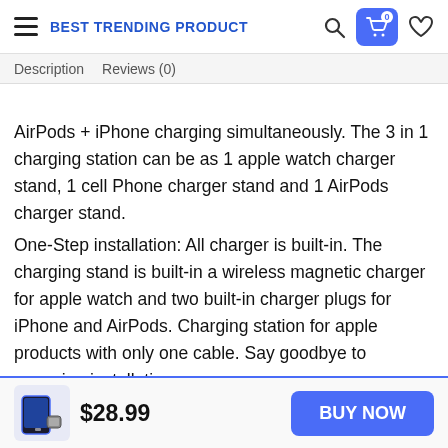BEST TRENDING PRODUCT
Description   Reviews (0)
AirPods + iPhone charging simultaneously. The 3 in 1 charging station can be as 1 apple watch charger stand, 1 cell Phone charger stand and 1 AirPods charger stand. One-Step installation: All charger is built-in. The charging stand is built-in a wireless magnetic charger for apple watch and two built-in charger plugs for iPhone and AirPods. Charging station for apple products with only one cable. Say goodbye to annoying installation.
$28.99   BUY NOW